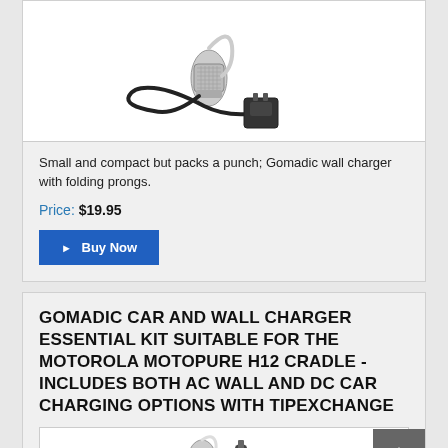[Figure (photo): Bluetooth headset with ear hook and wall charger/power adapter with coiled cable]
Small and compact but packs a punch; Gomadic wall charger with folding prongs.
Price: $19.95
▶ Buy Now
GOMADIC CAR AND WALL CHARGER ESSENTIAL KIT SUITABLE FOR THE MOTOROLA MOTOPURE H12 CRADLE - INCLUDES BOTH AC WALL AND DC CAR CHARGING OPTIONS WITH TIPEXCHANGE
[Figure (photo): Partial view of car and wall charger kit product image]